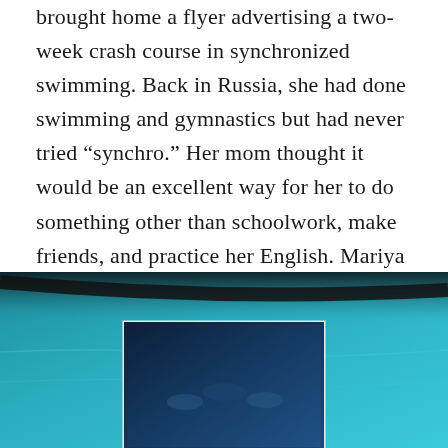brought home a flyer advertising a two-week crash course in synchronized swimming. Back in Russia, she had done swimming and gymnastics but had never tried “synchro.” Her mom thought it would be an excellent way for her to do something other than schoolwork, make friends, and practice her English. Mariya took the crash course, and when they asked her if she would like to do this year-round, she said “yes”!
[Figure (photo): A swimming pool with teal/turquoise water viewed from above at an angle, with a smaller inset photo showing synchronized swimmers in dark water.]